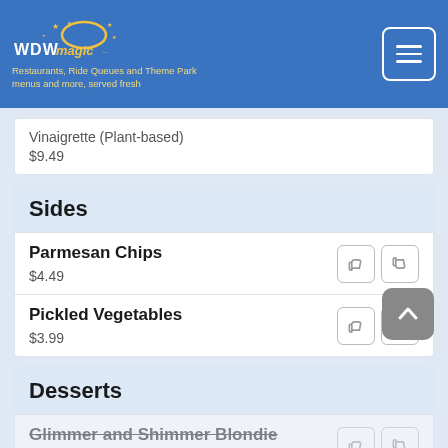WDWMagic.com header with navigation menu button
Vinaigrette (Plant-based)
$9.49
Sides
Parmesan Chips
$4.49
Pickled Vegetables
$3.99
Desserts
Glimmer and Shimmer Blondie
Gooey Toffee and Toasted Coconut Blondie with Salted Caramel Buttercream and festive Gold